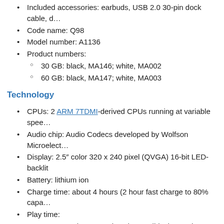Included accessories: earbuds, USB 2.0 30-pin dock cable, d…
Code name: Q98
Model number: A1136
Product numbers:
30 GB: black, MA146; white, MA002
60 GB: black, MA147; white, MA003
Technology
CPUs: 2 ARM 7TDMI-derived CPUs running at variable spee…
Audio chip: Audio Codecs developed by Wolfson Microelect…
Display: 2.5″ color 320 x 240 pixel (QVGA) 16-bit LED-backlit
Battery: lithium ion
Charge time: about 4 hours (2 hour fast charge to 80% capa…
Play time:
30 GB: 15 hours music, 3 hours slideshow, 2 hours vio…
60 GB: 20 hours music, 4 hours slideshow, 3 hours vio…
Compatibility
Original OS: iPod video OS 1.0